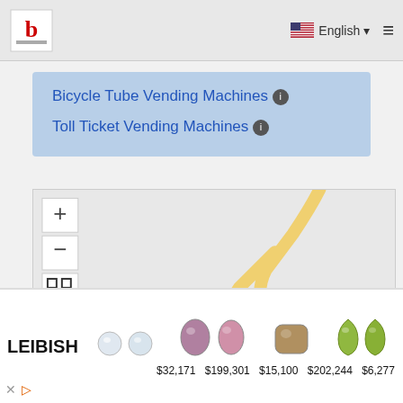English ☰
Bicycle Tube Vending Machines ℹ
Toll Ticket Vending Machines ℹ
[Figure (map): Interactive street map with zoom controls (+, -, fullscreen) showing a road/path in yellow on a light grey background]
[Figure (photo): Leibish advertisement banner showing gemstones/diamonds with prices: $32,171  $199,301  $15,100  $202,244  $6,277]